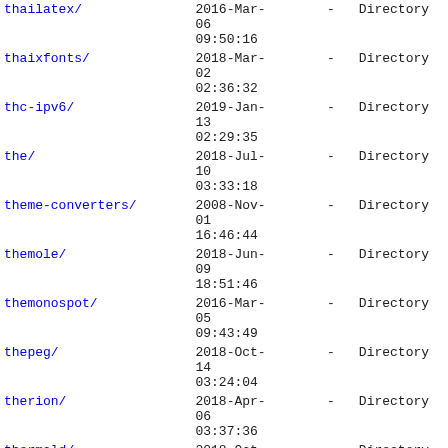| Name | Date | Size | Type |
| --- | --- | --- | --- |
| thailatex/ | 2016-Mar-06
09:50:16 | - | Directory |
| thaixfonts/ | 2018-Mar-02
02:36:32 | - | Directory |
| thc-ipv6/ | 2019-Jan-13
02:29:35 | - | Directory |
| the/ | 2018-Jul-10
03:33:18 | - | Directory |
| theme-converters/ | 2008-Nov-01
16:46:44 | - | Directory |
| themole/ | 2018-Jun-09
18:51:46 | - | Directory |
| themonospot/ | 2016-Mar-05
09:43:49 | - | Directory |
| thepeg/ | 2018-Oct-14
03:24:04 | - | Directory |
| therion/ | 2018-Apr-06
03:37:36 | - | Directory |
| thermald/ | 2018-Oct-27
03:31:40 | - | Directory |
| thescoder/ | 2010-Jun-21 | - | Directory |